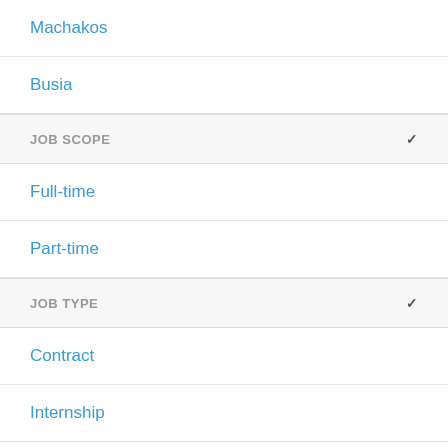Machakos
Busia
JOB SCOPE
Full-time
Part-time
JOB TYPE
Contract
Internship